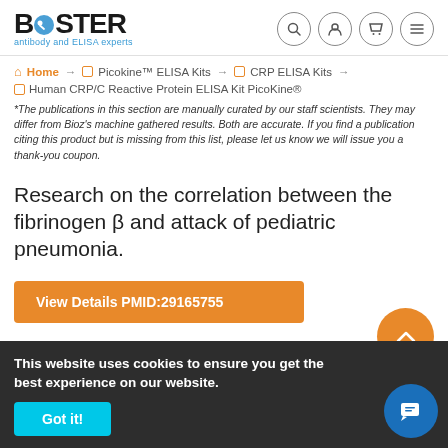[Figure (logo): Boster logo with blue circular dot replacing O, subtitle reads 'antibody and ELISA experts']
[Figure (infographic): Header icons: search, user account, shopping cart, menu (hamburger)]
Home → Picokine™ ELISA Kits → CRP ELISA Kits →
Human CRP/C Reactive Protein ELISA Kit PicoKine®
*The publications in this section are manually curated by our staff scientists. They may differ from Bioz's machine gathered results. Both are accurate. If you find a publication citing this product but is missing from this list, please let us know we will issue you a thank-you coupon.
Research on the correlation between the fibrinogen β and attack of pediatric pneumonia.
View Details PMID:29165755
This website uses cookies to ensure you get the best experience on our website.
Got it!